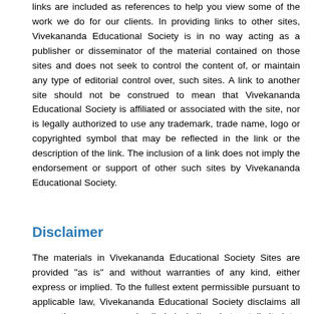links are included as references to help you view some of the work we do for our clients. In providing links to other sites, Vivekananda Educational Society is in no way acting as a publisher or disseminator of the material contained on those sites and does not seek to control the content of, or maintain any type of editorial control over, such sites. A link to another site should not be construed to mean that Vivekananda Educational Society is affiliated or associated with the site, nor is legally authorized to use any trademark, trade name, logo or copyrighted symbol that may be reflected in the link or the description of the link. The inclusion of a link does not imply the endorsement or support of other such sites by Vivekananda Educational Society.
Disclaimer
The materials in Vivekananda Educational Society Sites are provided "as is" and without warranties of any kind, either express or implied. To the fullest extent permissible pursuant to applicable law, Vivekananda Educational Society disclaims all warranties, express or implied, including, but not limited to, implied warranties of merchantability and fitness for a particular purpose. Vivekananda Educational Society does not warrant